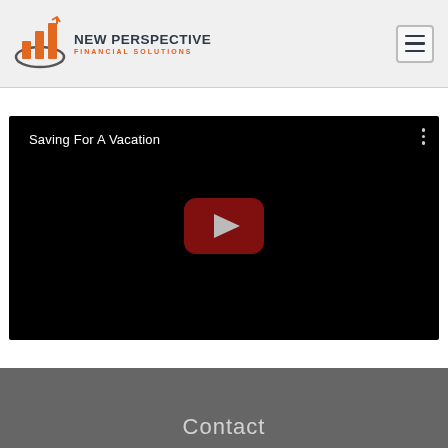NEW PERSPECTIVE FINANCIAL SOLUTIONS
[Figure (screenshot): YouTube video embed with title 'Saving For A Vacation' on black background with YouTube play button]
Contact